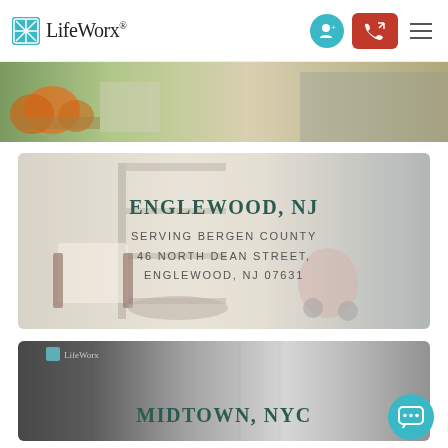LifeWorx
[Figure (photo): Decorative image strip with autumn pumpkins and harvest scene]
[Figure (photo): Location card for Englewood NJ office with interior and street background]
ENGLEWOOD, NJ
SERVING BERGEN COUNTY
46 NORTH DEAN STREET,
ENGLEWOOD, NJ 07631
[Figure (photo): Location card for Midtown NYC office with storefront background]
MIDTOWN, NYC